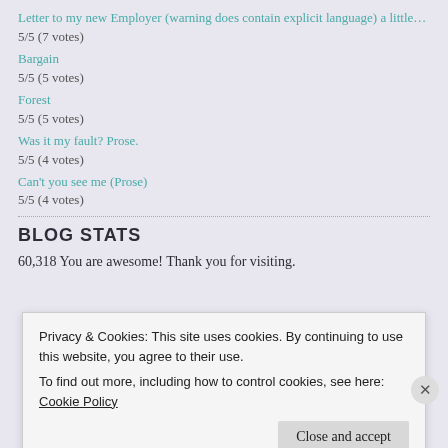Letter to my new Employer (warning does contain explicit language) a little…
5/5 (7 votes)
Bargain
5/5 (5 votes)
Forest
5/5 (5 votes)
Was it my fault? Prose.
5/5 (4 votes)
Can't you see me (Prose)
5/5 (4 votes)
BLOG STATS
60,318 You are awesome! Thank you for visiting.
Privacy & Cookies: This site uses cookies. By continuing to use this website, you agree to their use. To find out more, including how to control cookies, see here: Cookie Policy
Close and accept